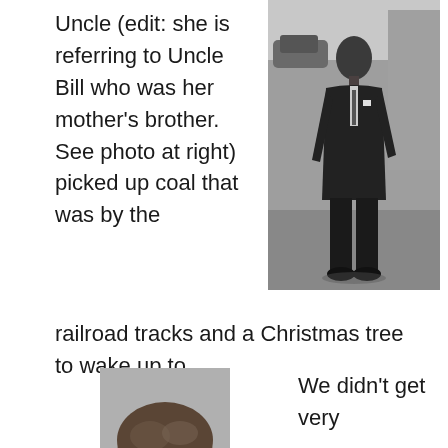Uncle (edit: she is referring to Uncle Bill who was her mother's brother. See photo at right) picked up coal that was by the railroad tracks and a Christmas tree to wake up to.
[Figure (photo): Black and white photograph of a man in a suit standing outdoors on a street or sidewalk, with a car and building visible in the background.]
[Figure (photo): Black and white photograph showing the top of a child's head, partially visible at the bottom of the page.]
We didn't get very